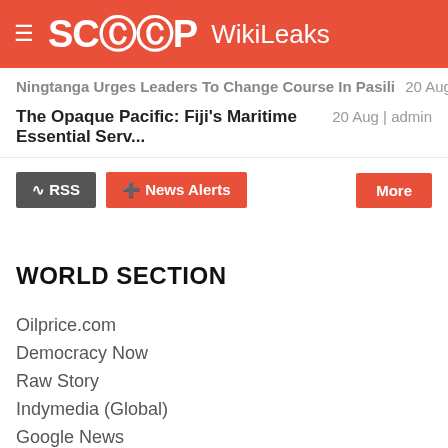SCOOP WikiLeaks
Ningtanga Urges Leaders To Change Course In Pasili 20 Aug | admin
The Opaque Pacific: Fiji's Maritime Essential Serv... 20 Aug | admin
RSS  News Alerts  More
WORLD SECTION
Oilprice.com
Democracy Now
Raw Story
Indymedia (Global)
Google News
Slashdot
Guardian Newspaper
The Independent
Washington Post
New York Times